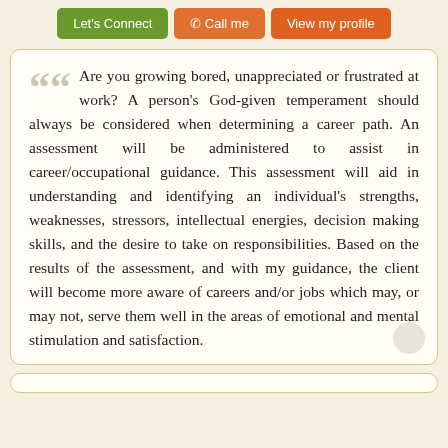[Figure (other): Three call-to-action buttons: 'Let's Connect' (green), 'Call me' (orange with phone icon), 'View my profile' (orange)]
Are you growing bored, unappreciated or frustrated at work? A person's God-given temperament should always be considered when determining a career path. An assessment will be administered to assist in career/occupational guidance. This assessment will aid in understanding and identifying an individual's strengths, weaknesses, stressors, intellectual energies, decision making skills, and the desire to take on responsibilities. Based on the results of the assessment, and with my guidance, the client will become more aware of careers and/or jobs which may, or may not, serve them well in the areas of emotional and mental stimulation and satisfaction.